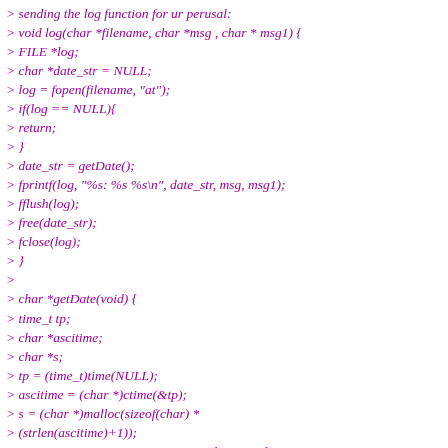> sending the log function for ur perusal:
> void log(char *filename, char *msg , char * msg1) {
> FILE *log;
> char *date_str = NULL;
> log = fopen(filename, "at");
> if(log == NULL){
> return;
> }
> date_str = getDate();
> fprintf(log, "%s: %s %s\n", date_str, msg, msg1);
> fflush(log);
> free(date_str);
> fclose(log);
> }
>
> char *getDate(void) {
> time_t tp;
> char *ascitime;
> char *s;
> tp = (time_t)time(NULL);
> ascitime = (char *)ctime(&tp);
> s = (char *)malloc(sizeof(char) *
> (strlen(ascitime)+1));
> /* no use writing an error message, because this
> function
> will keep getting called! */